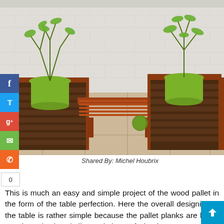[Figure (photo): Outdoor wooden bench with planter boxes on each side, green potted plants on top, set on a tiled patio with white brick wall background. Social media sharing buttons (Facebook, Twitter, Google+, Email, Phone) visible on left side.]
Shared By: Michel Houbrix
This is much an easy and simple project of the wood pallet in the form of the table perfection. Here the overall designing of the table is rather simple because the pallet planks are being cut down in the similar variations of shaping as you need. Attach them together and end it up with classy table piece.